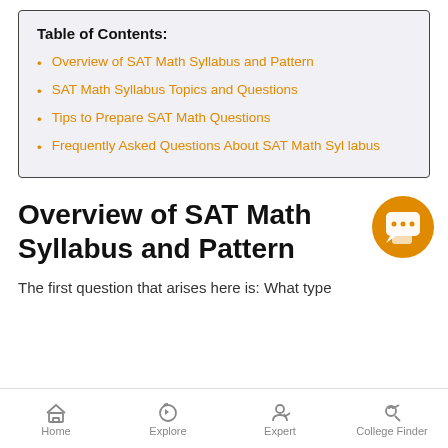Table of Contents:
Overview of SAT Math Syllabus and Pattern
SAT Math Syllabus Topics and Questions
Tips to Prepare SAT Math Questions
Frequently Asked Questions About SAT Math Syllabus
Overview of SAT Math Syllabus and Pattern
The first question that arises here is: What type
[Figure (illustration): Orange circular chat/support button icon]
Home  Explore  Expert  College Finder